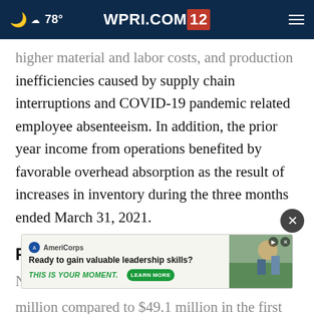78° WPRI.COM/12
higher material and labor costs, and production inefficiencies caused by supply chain interruptions and COVID-19 pandemic related employee absenteeism. In addition, the prior year income from operations benefited by favorable overhead absorption as the result of increases in inventory during the three months ended March 31, 2021.
Power Solutions
Net s... $52.0 million compared to $49.1 million in the first...
[Figure (screenshot): AmeriCorps advertisement banner: 'Ready to gain valuable leadership skills? THIS IS YOUR MOMENT. LEARN MORE' with image of people on the right side and play/close controls.]